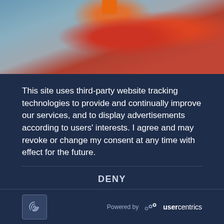[Figure (photo): Close-up photo of laboratory/medical vials and sample containers, with a blue-grey background and red/orange containers visible.]
This site uses third-party website tracking technologies to provide and continually improve our services, and to display advertisements according to users' interests. I agree and may revoke or change my consent at any time with effect for the future.
DENY
ACCEPT
MORE
Powered by usercentrics